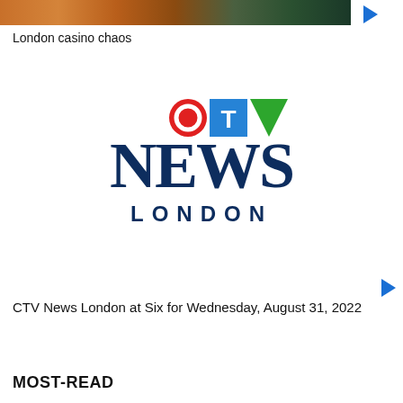[Figure (photo): Cropped top portion of a video thumbnail showing colorful aquatic/casino scene with orange and green tones]
London casino chaos
[Figure (logo): CTV News London logo with red C circle badge, blue T square badge, green V triangle badge above large dark blue NEWS text and LONDON text below]
CTV News London at Six for Wednesday, August 31, 2022
MOST-READ